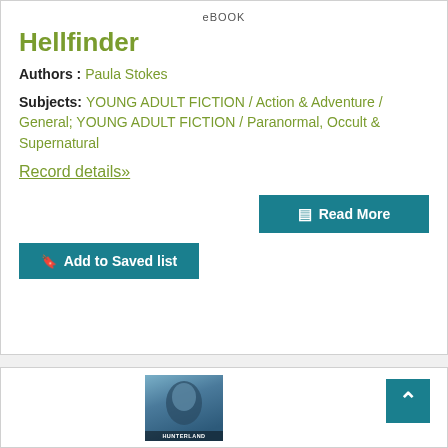eBOOK
Hellfinder
Authors : Paula Stokes
Subjects: YOUNG ADULT FICTION / Action & Adventure / General; YOUNG ADULT FICTION / Paranormal, Occult & Supernatural
Record details»
[Figure (illustration): Teal 'Read More' button with document icon]
[Figure (illustration): Teal 'Add to Saved list' button with bookmark icon]
[Figure (illustration): Book cover thumbnail showing a figure, partially visible, labeled HUNTERLAND at bottom]
[Figure (illustration): Scroll-to-top button (teal, with upward chevron)]